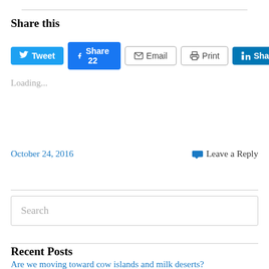Share this
[Figure (screenshot): Social sharing buttons: Tweet (Twitter), Share 22 (Facebook), Email, Print, Share (LinkedIn)]
Loading...
October 24, 2016    Leave a Reply
Search
Recent Posts
Are we moving toward cow islands and milk deserts?